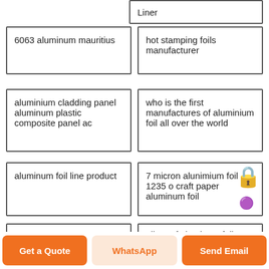Liner
6063 aluminum mauritius
hot stamping foils manufacturer
aluminium cladding panel aluminum plastic composite panel ac
who is the first manufactures of aluminium foil all over the world
aluminum foil line product
7 micron alunimium foil 1235 o craft paper aluminum foil
1100 1050 1060
oil proof aluminum foil
Get a Quote
WhatsApp
Send Email